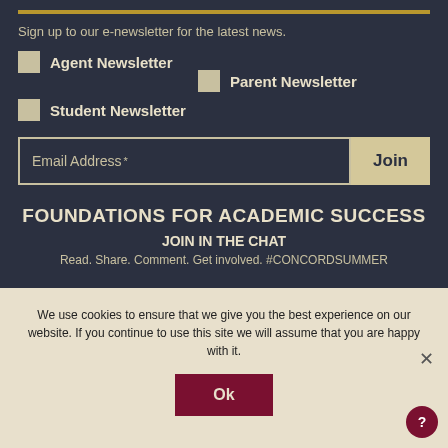Sign up to our e-newsletter for the latest news.
Agent Newsletter
Parent Newsletter
Student Newsletter
Email Address *
Join
FOUNDATIONS FOR ACADEMIC SUCCESS
JOIN IN THE CHAT
Read. Share. Comment. Get involved. #CONCORDSUMMER
We use cookies to ensure that we give you the best experience on our website. If you continue to use this site we will assume that you are happy with it.
Ok